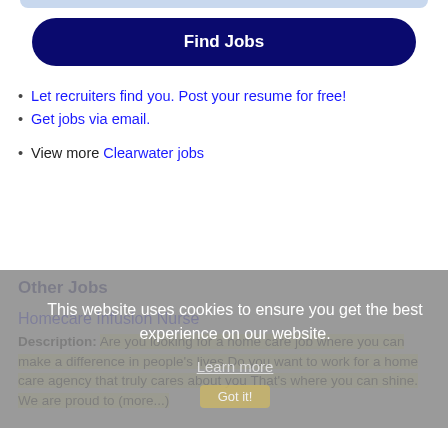[Figure (other): Top rounded blue-grey bar (partial, cropped at top)]
Find Jobs
Let recruiters find you. Post your resume for free!
Get jobs via email.
View more Clearwater jobs
Other Jobs
This website uses cookies to ensure you get the best experience on our website.
Learn more
Homecare Infusion Nurse
Description: Are you looking for a home care job where you can make a difference in people's lives Do you want to work for a home care agency that truly cares about you That's where you can shine. We are proud to (more...)